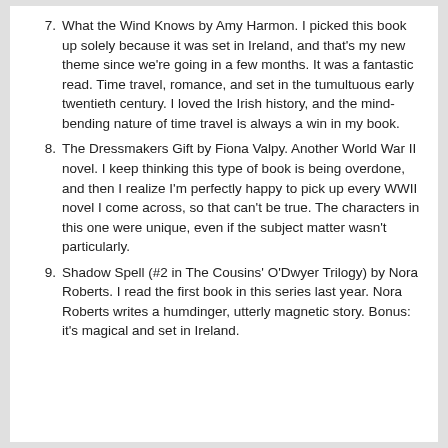7. What the Wind Knows by Amy Harmon. I picked this book up solely because it was set in Ireland, and that's my new theme since we're going in a few months. It was a fantastic read. Time travel, romance, and set in the tumultuous early twentieth century. I loved the Irish history, and the mind-bending nature of time travel is always a win in my book.
8. The Dressmakers Gift by Fiona Valpy. Another World War II novel. I keep thinking this type of book is being overdone, and then I realize I'm perfectly happy to pick up every WWII novel I come across, so that can't be true. The characters in this one were unique, even if the subject matter wasn't particularly.
9. Shadow Spell (#2 in The Cousins' O'Dwyer Trilogy) by Nora Roberts. I read the first book in this series last year. Nora Roberts writes a humdinger, utterly magnetic story. Bonus: it's magical and set in Ireland.